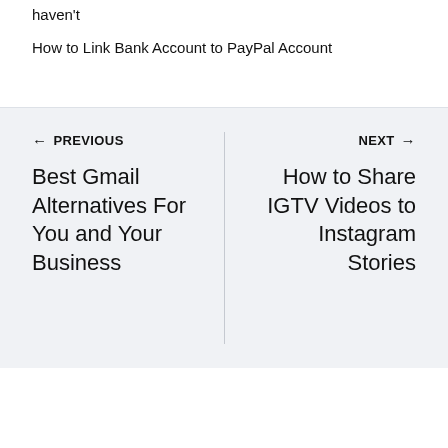haven't
How to Link Bank Account to PayPal Account
← PREVIOUS
Best Gmail Alternatives For You and Your Business
NEXT →
How to Share IGTV Videos to Instagram Stories